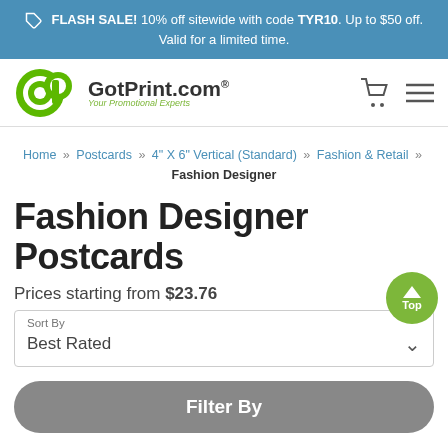FLASH SALE! 10% off sitewide with code TYR10. Up to $50 off. Valid for a limited time.
[Figure (logo): GotPrint.com logo with green GP icon and tagline 'Your Promotional Experts']
Home » Postcards » 4" X 6" Vertical (Standard) » Fashion & Retail » Fashion Designer
Fashion Designer Postcards
Prices starting from $23.76
Sort By: Best Rated
Filter By